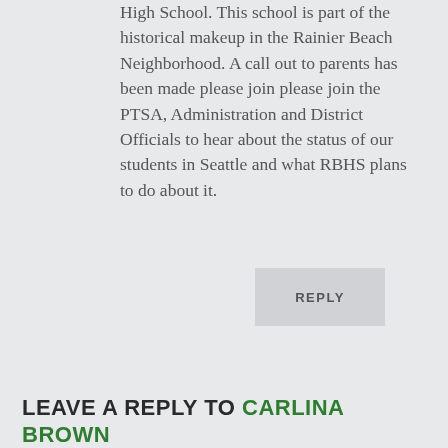High School. This school is part of the historical makeup in the Rainier Beach Neighborhood. A call out to parents has been made please join please join the PTSA, Administration and District Officials to hear about the status of our students in Seattle and what RBHS plans to do about it.
REPLY
LEAVE A REPLY TO CARLINA BROWN